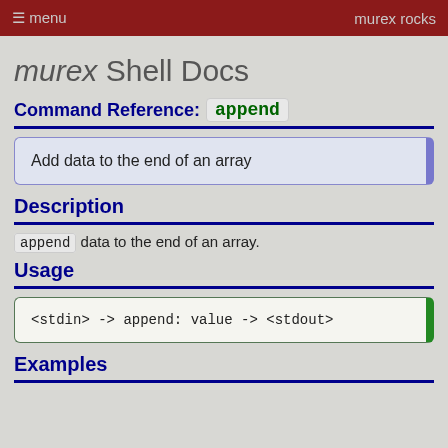menu   murex rocks
murex Shell Docs
Command Reference: append
Add data to the end of an array
Description
append data to the end of an array.
Usage
<stdin> -> append: value -> <stdout>
Examples